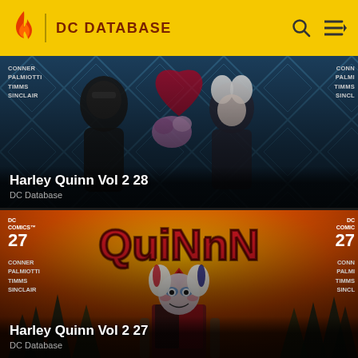DC Database
[Figure (illustration): Comic book cover art for Harley Quinn Vol 2 28. Dark blue-teal background with diamond pattern. Two silhouetted figures face each other — a masked character on the left and Harley Quinn on the right holding flowers.]
Harley Quinn Vol 2 28
DC Database
[Figure (illustration): Comic book cover art for Harley Quinn Vol 2 27. Orange-red background with forest silhouette. Large red Quinn logo at top. Harley Quinn character in foreground smiling, wearing red and black costume with pigtails.]
Harley Quinn Vol 2 27
DC Database